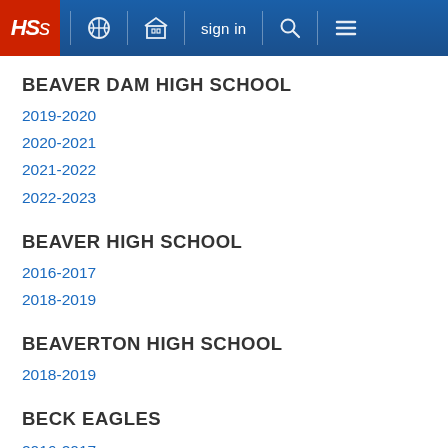HSS | sign in | navigation
BEAVER DAM HIGH SCHOOL
2019-2020
2020-2021
2021-2022
2022-2023
BEAVER HIGH SCHOOL
2016-2017
2018-2019
BEAVERTON HIGH SCHOOL
2018-2019
BECK EAGLES
2016-2017